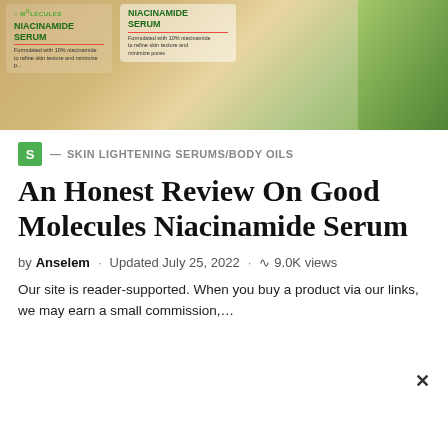[Figure (photo): Two bottles of Good Molecules Niacinamide Serum product, one partially behind the other, held against a leafy green background. Labels show 'NIACINAMIDE SERUM' text and product description about 10% niacinamide.]
S — SKIN LIGHTENING SERUMS/BODY OILS
An Honest Review On Good Molecules Niacinamide Serum
by Anselem · Updated July 25, 2022 · 9.0K views
Our site is reader-supported. When you buy a product via our links, we may earn a small commission,...